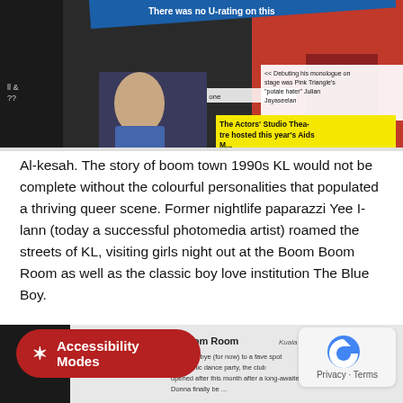[Figure (photo): Magazine clipping showing photos from nightlife scene with captions including 'There was no U-rating on this one' and 'Debuting his monologue on stage was Pink Triangle's potale hater Julian Jayaseelan' and 'The Actors' Studio Theatre hosted this year's Aids...']
Al-kesah. The story of boom town 1990s KL would not be complete without the colourful personalities that populated a thriving queer scene. Former nightlife paparazzi Yee I-lann (today a successful photomedia artist) roamed the streets of KL, visiting girls night out at the Boom Boom Room as well as the classic boy love institution The Blue Boy.
[Figure (photo): Bottom of page showing another magazine clipping about Boom Boom Room, Kuala Lumpur, with text about saying goodbye and Atomic dance party, partially obscured by accessibility button and privacy/terms overlay.]